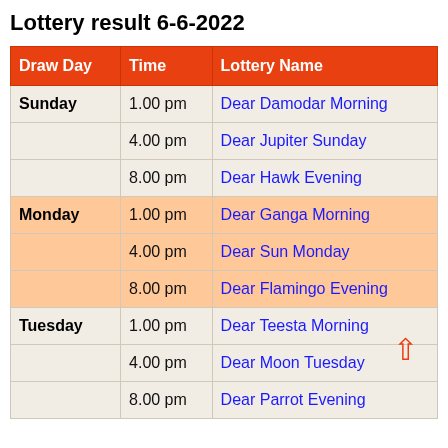Lottery result 6-6-2022
| Draw Day | Time | Lottery Name |
| --- | --- | --- |
| Sunday | 1.00 pm | Dear Damodar Morning |
|  | 4.00 pm | Dear Jupiter Sunday |
|  | 8.00 pm | Dear Hawk Evening |
| Monday | 1.00 pm | Dear Ganga Morning |
|  | 4.00 pm | Dear Sun Monday |
|  | 8.00 pm | Dear Flamingo Evening |
| Tuesday | 1.00 pm | Dear Teesta Morning |
|  | 4.00 pm | Dear Moon Tuesday |
|  | 8.00 pm | Dear Parrot Evening |